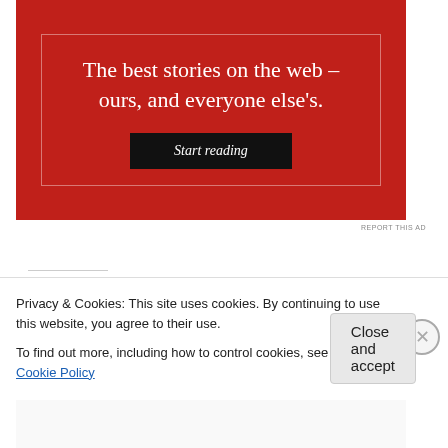[Figure (infographic): Red advertisement banner with serif white text reading 'The best stories on the web – ours, and everyone else's.' and a dark 'Start reading' button inside a thin white border]
REPORT THIS AD
Share this:
[Figure (screenshot): Share buttons row: blue Tweet button, red Save button with Pinterest icon, and a count showing 30]
Privacy & Cookies: This site uses cookies. By continuing to use this website, you agree to their use.
To find out more, including how to control cookies, see here: Cookie Policy
Close and accept